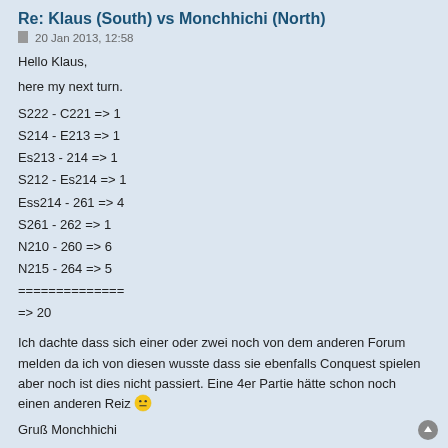Re: Klaus (South) vs Monchhichi (North)
20 Jan 2013, 12:58
Hello Klaus,
here my next turn.
S222 - C221 => 1
S214 - E213 => 1
Es213 - 214 => 1
S212 - Es214 => 1
Ess214 - 261 => 4
S261 - 262 => 1
N210 - 260 => 6
N215 - 264 => 5
==============
=> 20
Ich dachte dass sich einer oder zwei noch von dem anderen Forum melden da ich von diesen wusste dass sie ebenfalls Conquest spielen aber noch ist dies nicht passiert. Eine 4er Partie hätte schon noch einen anderen Reiz 😐
Gruß Monchhichi